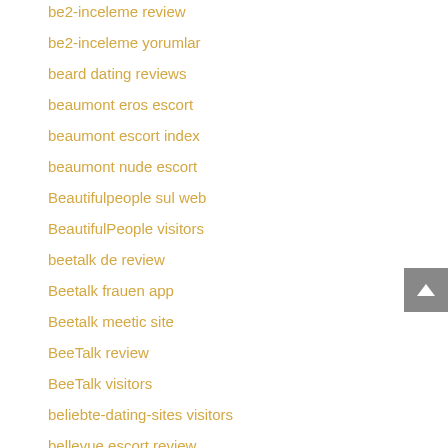be2-inceleme review
be2-inceleme yorumlar
beard dating reviews
beaumont eros escort
beaumont escort index
beaumont nude escort
Beautifulpeople sul web
BeautifulPeople visitors
beetalk de review
Beetalk frauen app
Beetalk meetic site
BeeTalk review
BeeTalk visitors
beliebte-dating-sites visitors
bellevue escort review